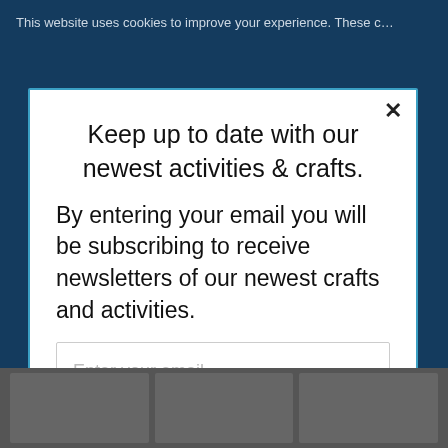This website uses cookies to improve your experience. These c...
Keep up to date with our newest activities & crafts.
By entering your email you will be subscribing to receive newsletters of our newest crafts and activities.
Enter your email
Subscribe
powered by MailMunch